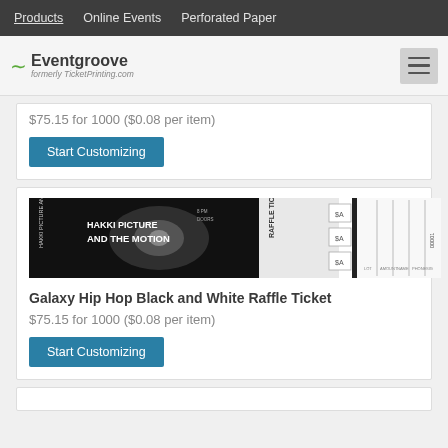Products   Online Events   Perforated Paper
[Figure (logo): Eventgroove logo with tilde symbol and 'formerly TicketPrinting.com' tagline]
$75.15 for 1000 ($0.08 per item)
Start Customizing
[Figure (photo): Galaxy Hip Hop Black and White Raffle Ticket product image showing a dark galaxy-themed ticket with 'AND THE MOTION' text and raffle stub sections]
Galaxy Hip Hop Black and White Raffle Ticket
$75.15 for 1000 ($0.08 per item)
Start Customizing